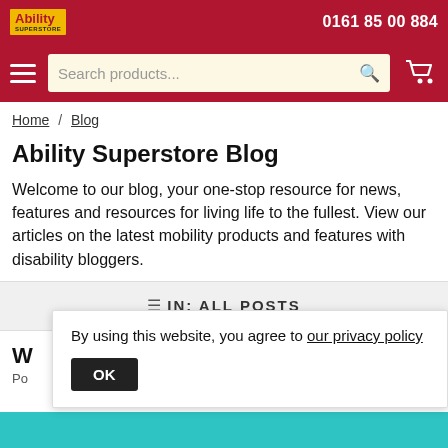Ability Superstore | 0161 85 00 884
[Figure (screenshot): Website navigation bar with hamburger menu, search box reading 'Search products...' with magnifying glass icon, and shopping cart icon]
Home / Blog
Ability Superstore Blog
Welcome to our blog, your one-stop resource for news, features and resources for living life to the fullest. View our articles on the latest mobility products and features with disability bloggers.
IN: ALL POSTS
W...
Po...
By using this website, you agree to our privacy policy
OK